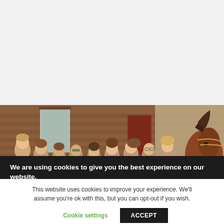[Figure (photo): Group of women standing in front of a log cabin building, with a horse visible on the right side. Outdoor summer scene.]
We are using cookies to give you the best experience on our website.
This website uses cookies to improve your experience. We'll assume you're ok with this, but you can opt-out if you wish.
Cookie settings
ACCEPT